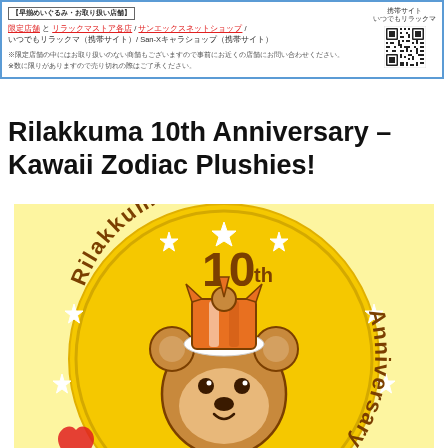【早揃めいぐるみ・お取り扱い店舗】 限定店舗 と リラックマストア各店 / サンエックスネットショップ / いつでもリラックマ（携帯サイト）/ San-Xキャラショップ（携帯サイト） ※限定店舗の中にはお取り扱いのない商舗もございますので事前にお近くの店舗にお問い合わせください。 ※数に限りがありますので売り切れの際はご了承ください。
Rilakkuma 10th Anniversary – Kawaii Zodiac Plushies!
[Figure (illustration): Rilakkuma 10th Anniversary logo illustration: a large yellow circle badge with brown bear character wearing an orange crown, surrounded by white stars, with curved text 'Rilakkuma 10th Anniversary' around the circle on a light yellow background.]